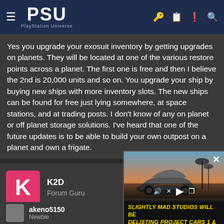PSU PlayStation Universe
Yes you upgrade your exosuit inventory by getting upgrades on planets. They will be located at one of the various restore points across a planet. The first one is free and then I believe the 2nd is 20,000 units and so on. You upgrade your ship by buying new ships with more inventory slots. The new ships can be found for free just lying somewhere, at space stations, and at trading posts. I don't know of any on planet or off planet storage solutions. I've heard that one of the future updates is to be able to build your own outpost on a planet and own a frigate.
K2D Forum Guru
Aug 11, 2016
There's a lot of things in this game I coul though of experiencing this game and oth
akeno5150 Newbie
[Figure (screenshot): Video ad overlay showing a sports car with text: SLIGHTLY MAD STUDIOS WILL BE DELISTING PROJECT CARS 1 & 2, with video player controls (mute, play, fullscreen) and a close X button]